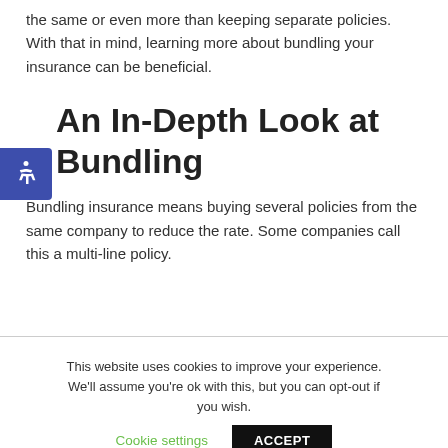the same or even more than keeping separate policies. With that in mind, learning more about bundling your insurance can be beneficial.
An In-Depth Look at Bundling
Bundling insurance means buying several policies from the same company to reduce the rate. Some companies call this a multi-line policy.
This website uses cookies to improve your experience. We'll assume you're ok with this, but you can opt-out if you wish. Cookie settings ACCEPT